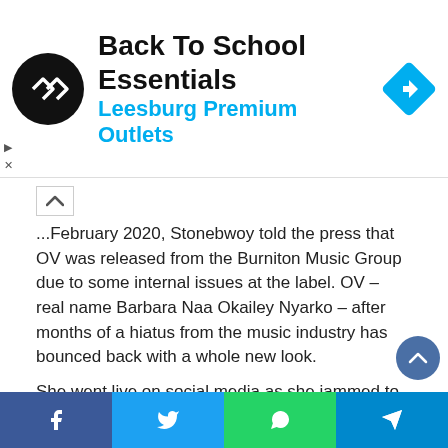[Figure (logo): Advertisement banner: black circular logo with white double-arrow symbol, text 'Back To School Essentials' in bold black, 'Leesburg Premium Outlets' in cyan/blue, blue diamond navigation icon on right, play and close controls on left]
In February 2020, Stonebwoy told the press that OV was released from the Burniton Music Group due to some internal issues at the label. OV – real name Barbara Naa Okailey Nyarko – after months of a hiatus from the music industry has bounced back with a whole new look.
She went live on social media as she jammed to O'kenneth joint Agyeiwaa featuring the Asaka boys.
From the video, one could see OV had change and this time has added a nose pirecing to her already known dreadlocks
[Figure (infographic): Footer social share bar with Facebook, Twitter, WhatsApp, and Telegram icons]